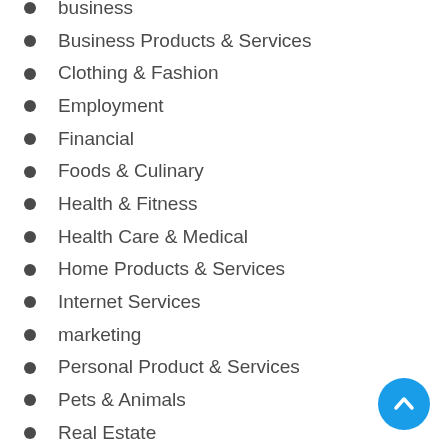business
Business Products & Services
Clothing & Fashion
Employment
Financial
Foods & Culinary
Health & Fitness
Health Care & Medical
Home Products & Services
Internet Services
marketing
Personal Product & Services
Pets & Animals
Real Estate
Relationships
sales
Software
Sports & Athletics
Technology
Travel
Uncategorized
Web Resources